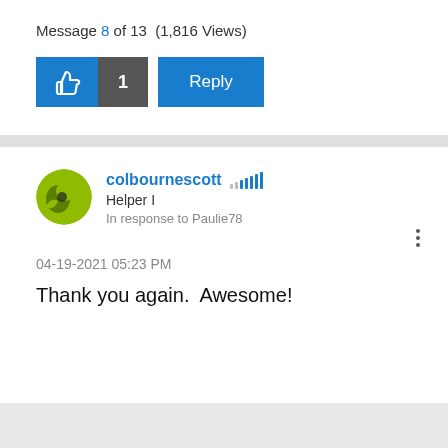Message 8 of 13  (1,816 Views)
[Figure (infographic): Like button (thumbs up icon in blue), like count badge showing 1 in dark gray, and Reply button in blue]
[Figure (photo): User avatar: green circular avatar for colbournescott]
colbournescott
Helper I
In response to Paulie78
04-19-2021 05:23 PM
Thank you again.  Awesome!